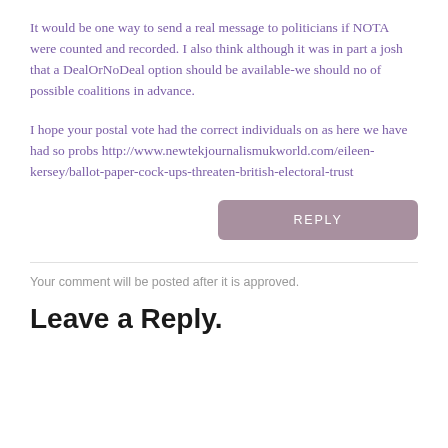It would be one way to send a real message to politicians if NOTA were counted and recorded. I also think although it was in part a josh that a DealOrNoDeal option should be available-we should no of possible coalitions in advance.
I hope your postal vote had the correct individuals on as here we have had so probs http://www.newtekjournalismukworld.com/eileen-kersey/ballot-paper-cock-ups-threaten-british-electoral-trust
REPLY
Your comment will be posted after it is approved.
Leave a Reply.